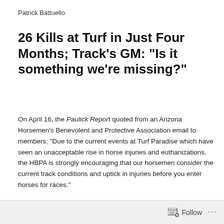Patrick Battuello
26 Kills at Turf in Just Four Months; Track’s GM: “Is it something we’re missing?”
On April 16, the Paulick Report quoted from an Arizona Horsemen’s Benevolent and Protective Association email to members: “Due to the current events at Turf Paradise which have seen an unacceptable rise in horse injuries and euthanizations, the HBPA is strongly encouraging that our horsemen consider the current track conditions and uptick in injuries before you enter horses for races.”
Follow